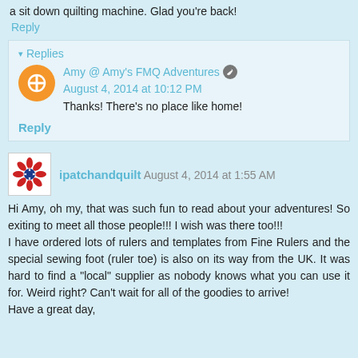a sit down quilting machine. Glad you're back!
Reply
Replies
Amy @ Amy's FMQ Adventures  August 4, 2014 at 10:12 PM
Thanks! There's no place like home!
Reply
ipatchandquilt  August 4, 2014 at 1:55 AM
Hi Amy, oh my, that was such fun to read about your adventures! So exiting to meet all those people!!! I wish was there too!!!
I have ordered lots of rulers and templates from Fine Rulers and the special sewing foot (ruler toe) is also on its way from the UK. It was hard to find a "local" supplier as nobody knows what you can use it for. Weird right? Can't wait for all of the goodies to arrive!
Have a great day,